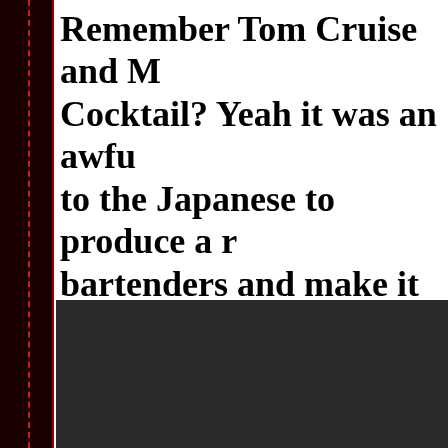Remember Tom Cruise and M Cocktail? Yeah it was an awfu to the Japanese to produce a r bartenders and make it work!
Hello JPFmovies fans and welcome to another review of something remembers watching Tom Cruise and Michael Caine in the 1988 film Michael Caine could go after his stellar performance in Blame it on plot, predictable ending and an overall shitty film—but of course ear members of the JPFmovies staff were certain that we had seen the according to Michael Caine were "the aristocrats of the working clas review the good, the bad and the ugly the JPFmovies staff was plea (2011) a Japanese mini-series based on a manga of the same name
[Figure (photo): Dark/black image area at the bottom of the page]